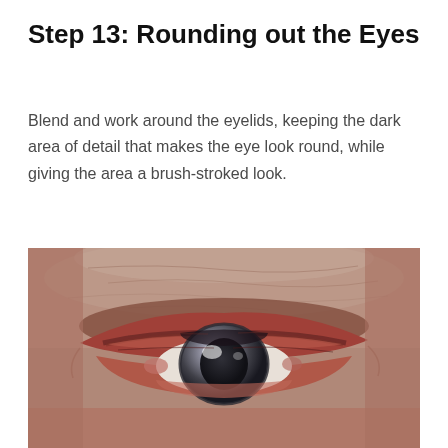Step 13: Rounding out the Eyes
Blend and work around the eyelids, keeping the dark area of detail that makes the eye look round, while giving the area a brush-stroked look.
[Figure (photo): Close-up photograph of a painted or sculpted eye with a dark iris and reddish eyelids showing textured brush-stroke details around the eyelid area and forehead skin texture above.]